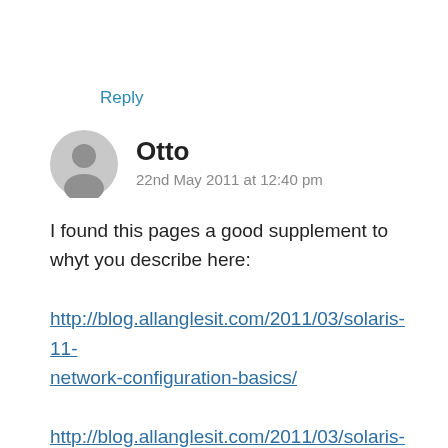Reply
Otto
22nd May 2011 at 12:40 pm
I found this pages a good supplement to whyt you describe here:
http://blog.allanglesit.com/2011/03/solaris-11-network-configuration-basics/
http://blog.allanglesit.com/2011/03/solaris-11-network-configuration-advanced/
Cheers